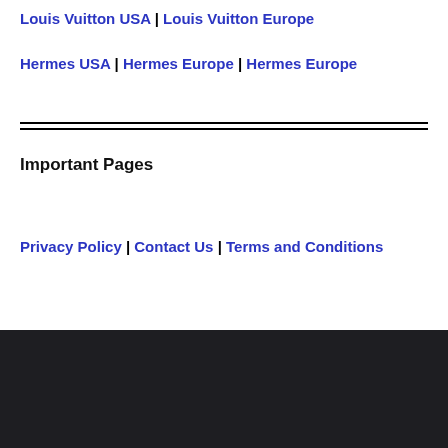Louis Vuitton USA | Louis Vuitton Europe
Hermes USA | Hermes Europe | Hermes Europe
Important Pages
Privacy Policy | Contact Us | Terms and Conditions